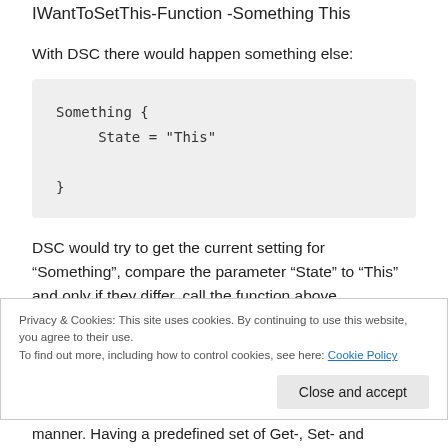IWantToSetThis-Function -Something This
With DSC there would happen something else:
Something {
    State = "This"
}
DSC would try to get the current setting for “Something”, compare the parameter “State” to “This” and only if they differ, call the function above.
Privacy & Cookies: This site uses cookies. By continuing to use this website, you agree to their use.
To find out more, including how to control cookies, see here: Cookie Policy
Close and accept
manner. Having a predefined set of Get-, Set- and